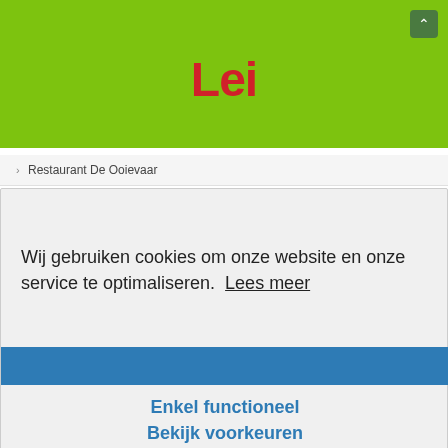[Figure (logo): Green header banner with red bold 'Lei' logo text centered]
> Restaurant De Ooievaar
Wij gebruiken cookies om onze website en onze service te optimaliseren.  Lees meer
Enkel functioneel
Bekijk voorkeuren